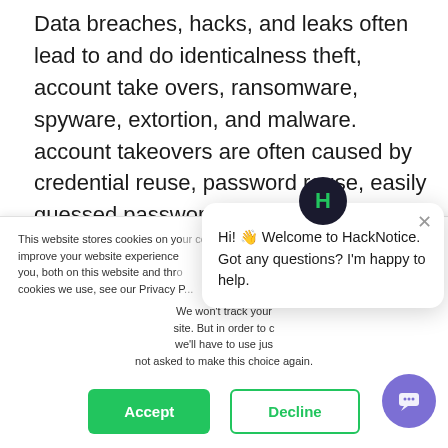Data breaches, hacks, and leaks often lead to and do identicalness theft, account take overs, ransomware, spyware, extortion, and malware. account takeovers are often caused by credential reuse, password reuse, easily guessed passwords, and are facilitated by the sharing of billions of credentials and other customer information through data leaks, as the direct result of data breaches and hacks.
This website stores cookies on your computer. These are used to improve your website experience you, both on this website and through cookies we use, see our Privacy P...
We won't track your site. But in order to c we'll have to use jus not asked to make this choice again.
[Figure (other): Cookie consent banner with Accept (green) and Decline (outlined green) buttons]
[Figure (other): HackNotice chat popup with logo avatar and welcome message: Hi! Welcome to HackNotice. Got any questions? I'm happy to help.]